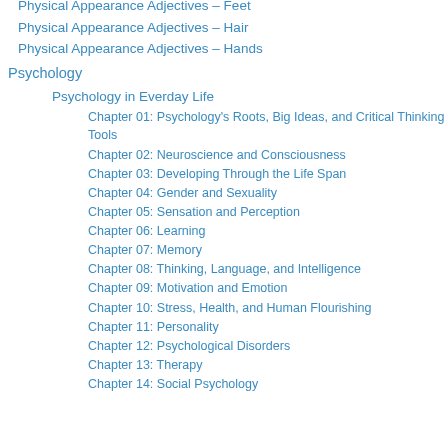Physical Appearance Adjectives – Feet
Physical Appearance Adjectives – Hair
Physical Appearance Adjectives – Hands
Psychology
Psychology in Everday Life
Chapter 01: Psychology's Roots, Big Ideas, and Critical Thinking Tools
Chapter 02: Neuroscience and Consciousness
Chapter 03: Developing Through the Life Span
Chapter 04: Gender and Sexuality
Chapter 05: Sensation and Perception
Chapter 06: Learning
Chapter 07: Memory
Chapter 08: Thinking, Language, and Intelligence
Chapter 09: Motivation and Emotion
Chapter 10: Stress, Health, and Human Flourishing
Chapter 11: Personality
Chapter 12: Psychological Disorders
Chapter 13: Therapy
Chapter 14: Social Psychology